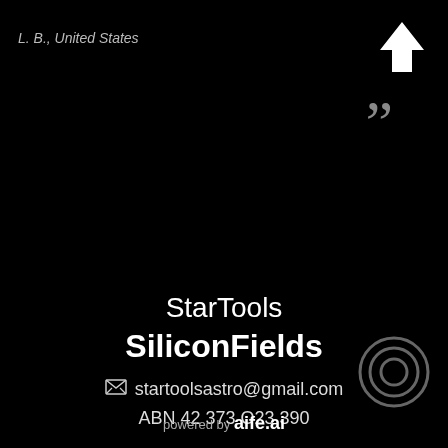L. B., United States
[Figure (illustration): White upward arrow icon in top right corner]
[Figure (illustration): Large gray closing quotation marks]
StarTools
SiliconFields
startoolsastro@gmail.com
ABN 42 373 O23 390
Follow
[Figure (illustration): Five social media icon buttons: YouTube, Reddit, bell/notifications, chat/WeChat, RSS feed]
Sitemap
© 2022 SiliconFields
powered by aife.ai
[Figure (illustration): Concentric circles target icon in bottom right corner]